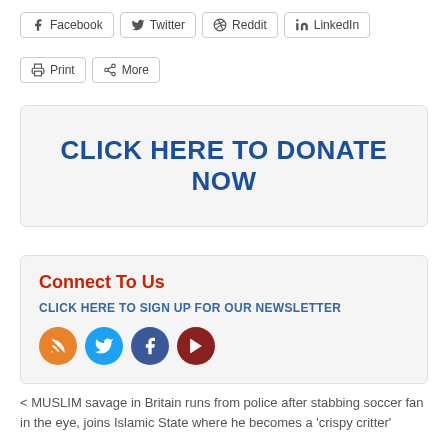[Figure (screenshot): Social share buttons: Facebook, Twitter, Reddit, LinkedIn, Print, More]
CLICK HERE TO DONATE NOW
Connect To Us
CLICK HERE TO SIGN UP FOR OUR NEWSLETTER
[Figure (infographic): Social media icons: RSS (orange), Twitter (blue), Facebook (dark blue), YouTube (dark red)]
< MUSLIM savage in Britain runs from police after stabbing soccer fan in the eye, joins Islamic State where he becomes a 'crispy critter'